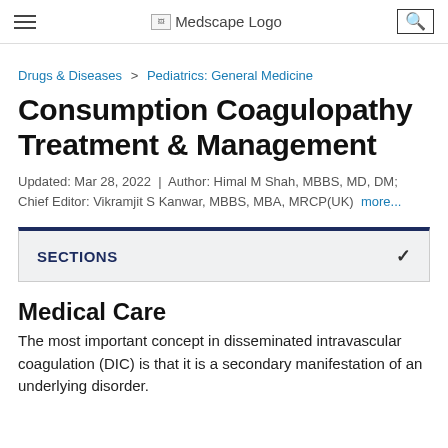Medscape Logo
Drugs & Diseases > Pediatrics: General Medicine
Consumption Coagulopathy Treatment & Management
Updated: Mar 28, 2022 | Author: Himal M Shah, MBBS, MD, DM; Chief Editor: Vikramjit S Kanwar, MBBS, MBA, MRCP(UK) more...
SECTIONS
Medical Care
The most important concept in disseminated intravascular coagulation (DIC) is that it is a secondary manifestation of an underlying disorder.